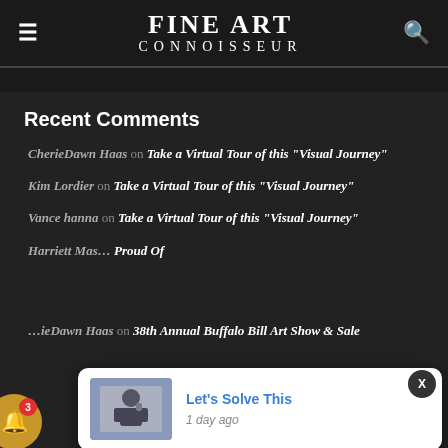FINE ART CONNOISSEUR
Recent Comments
CherieDawn Haas on Take a Virtual Tour of this “Visual Journey”
Kim Lordier on Take a Virtual Tour of this “Visual Journey”
Vance hanna on Take a Virtual Tour of this “Visual Journey”
Harriett Mas… on … Proud Of
CherieDawn Haas on 38th Annual Buffalo Bill Art Show & Sale
[Figure (screenshot): Notification popup with man thinking image, title 'Let’s Solve This', and timestamp '1 day ago']